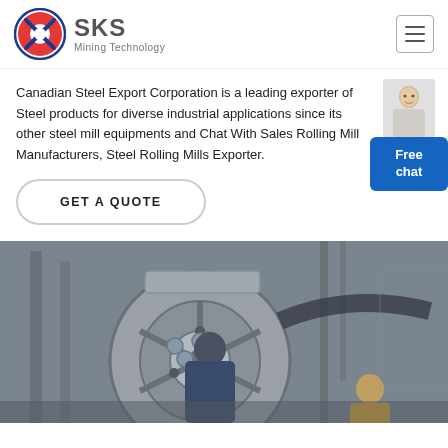[Figure (logo): SKS Mining Technology logo with red and blue circular emblem and gray text]
Canadian Steel Export Corporation is a leading exporter of Steel products for diverse industrial applications since its other steel mill equipments and Chat With Sales Rolling Mill Manufacturers, Steel Rolling Mills Exporter.
[Figure (illustration): Free chat widget with person illustration and blue button]
GET A QUOTE
[Figure (photo): Industrial machinery photo showing a worker inspecting a large mill wheel/gear assembly in a steel plant]